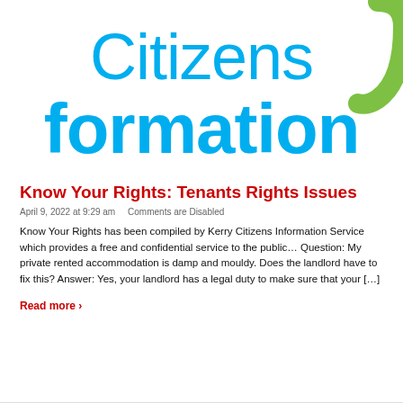[Figure (logo): Citizens formation logo with blue text 'Citizens' on top and 'formation' below in bold blue, with a green curved arc on the upper right corner]
Know Your Rights: Tenants Rights Issues
April 9, 2022 at 9:29 am    Comments are Disabled
Know Your Rights has been compiled by Kerry Citizens Information Service which provides a free and confidential service to the public… Question: My private rented accommodation is damp and mouldy. Does the landlord have to fix this? Answer: Yes, your landlord has a legal duty to make sure that your […]
Read more ›